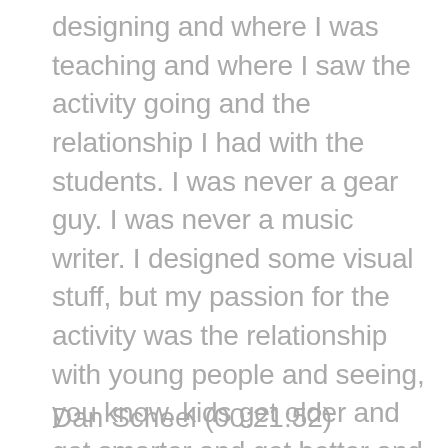designing and where I was teaching and where I saw the activity going and the relationship I had with the students. I was never a gear guy. I was never a music writer. I designed some visual stuff, but my passion for the activity was the relationship with young people and seeing, you know, kids get older and get smarter and get better and becoming rad people. And that's where I felt like Laura could fill that void, where there are tons of great educators, and there are tons of great writers and I needed to find my own. Maybe it was a personal quest, a little bit to find my own little way in the activity.
Dan Scheel (00:21:52)